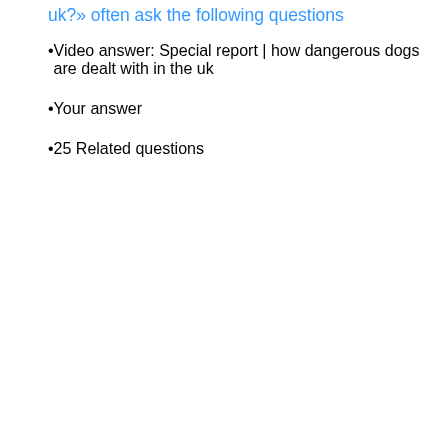uk?» often ask the following questions
Video answer: Special report | how dangerous dogs are dealt with in the uk
Your answer
25 Related questions